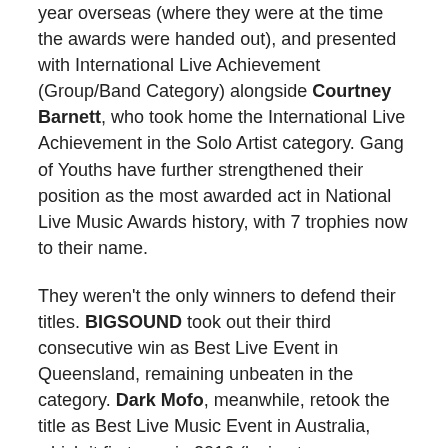year overseas (where they were at the time the awards were handed out), and presented with International Live Achievement (Group/Band Category) alongside Courtney Barnett, who took home the International Live Achievement in the Solo Artist category. Gang of Youths have further strengthened their position as the most awarded act in National Live Music Awards history, with 7 trophies now to their name.
They weren't the only winners to defend their titles. BIGSOUND took out their third consecutive win as Best Live Event in Queensland, remaining unbeaten in the category. Dark Mofo, meanwhile, retook the title as Best Live Music Event in Australia, which it first won in 2016 (losing to BIGSOUND last year). Both BIGSOUND and Dark Mofo have now won four NLMAs over the last three years.